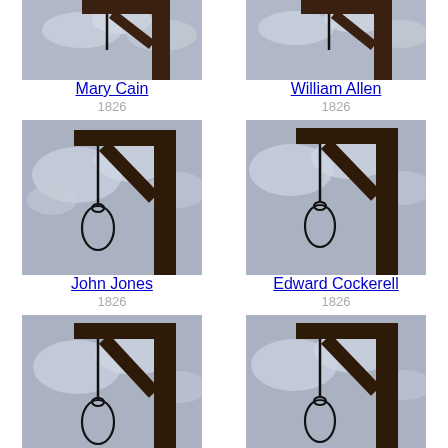[Figure (photo): Gallows with noose against cloudy sky - Mary Cain]
Mary Cain
1826
[Figure (photo): Gallows with noose against cloudy sky - William Allen]
William Allen
1826
[Figure (photo): Gallows with noose against cloudy sky - John Jones]
John Jones
1826
[Figure (photo): Gallows with noose against cloudy sky - Edward Cockerell]
Edward Cockerell
1826
[Figure (photo): Gallows with noose against cloudy sky - Samuel Wood]
Samuel Wood
[Figure (photo): Gallows with noose against cloudy sky - John Diggle]
John Diggle